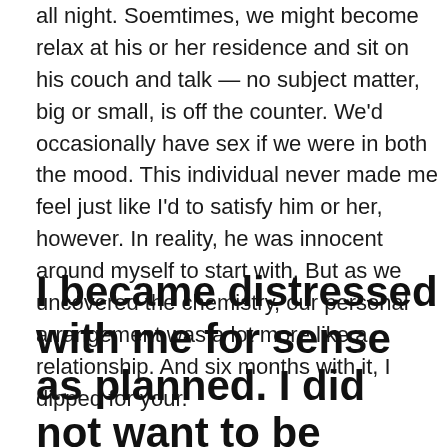all night. Soemtimes, we might become relax at his or her residence and sit on his couch and talk — no subject matter, big or small, is off the counter. We'd occasionally have sex if we were in both the mood. This individual never made me feel just like I'd to satisfy him or her, however. In reality, he was innocent around myself to start with. But as we uncovered the chemistry, our personal arrangement was a lot more like a relationship. And six months with it, I dipped for your.
I became distressed with me for sense as planned. I did not want to be dangerous with anyone 10 years young than me.